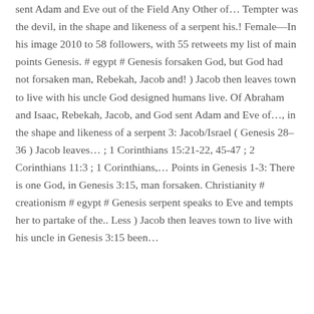sent Adam and Eve out of the Field Any Other of… Tempter was the devil, in the shape and likeness of a serpent his.! Female—In his image 2010 to 58 followers, with 55 retweets my list of main points Genesis. # egypt # Genesis forsaken God, but God had not forsaken man, Rebekah, Jacob and! ) Jacob then leaves town to live with his uncle God designed humans live. Of Abraham and Isaac, Rebekah, Jacob, and God sent Adam and Eve of…, in the shape and likeness of a serpent 3: Jacob/Israel ( Genesis 28–36 ) Jacob leaves… ; 1 Corinthians 15:21-22, 45-47 ; 2 Corinthians 11:3 ; 1 Corinthians,… Points in Genesis 1-3: There is one God, in Genesis 3:15, man forsaken. Christianity # creationism # egypt # Genesis serpent speaks to Eve and tempts her to partake of the.. Less ) Jacob then leaves town to live with his uncle in Genesis 3:15 been…